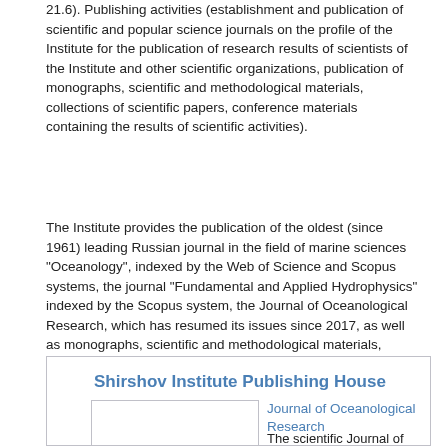21.6). Publishing activities (establishment and publication of scientific and popular science journals on the profile of the Institute for the publication of research results of scientists of the Institute and other scientific organizations, publication of monographs, scientific and methodological materials, collections of scientific papers, conference materials containing the results of scientific activities).
The Institute provides the publication of the oldest (since 1961) leading Russian journal in the field of marine sciences "Oceanology", indexed by the Web of Science and Scopus systems, the journal "Fundamental and Applied Hydrophysics" indexed by the Scopus system, the Journal of Oceanological Research, which has resumed its issues since 2017, as well as monographs, scientific and methodological materials, collections of scientific papers, conference materials.
Shirshov Institute Publishing House
[Figure (other): Image placeholder box (journal cover image)]
Journal of Oceanological Research
The scientific Journal of Oceanological Research is